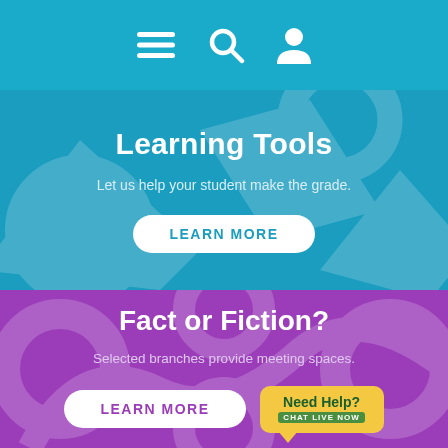Navigation bar with menu, search, and user icons
Learning Tools
Let us help your student make the grade.
LEARN MORE
Fact or Fiction?
Selected branches provide meeting spaces.
LEARN MORE
Need Help? CHAT LIVE NOW